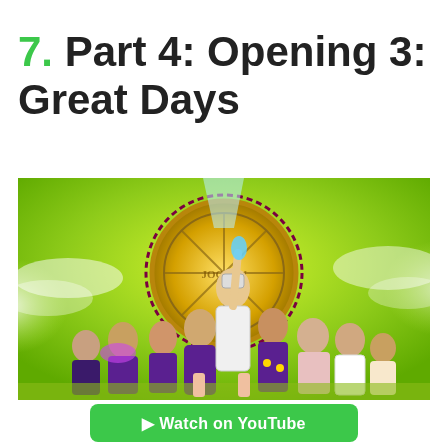7. Part 4: Opening 3: Great Days
[Figure (illustration): Anime illustration showing multiple characters from JoJo's Bizarre Adventure Part 4, posed together against a bright yellow-green background with a large golden clock/sundial motif. Characters wearing purple and white outfits.]
Watch on YouTube